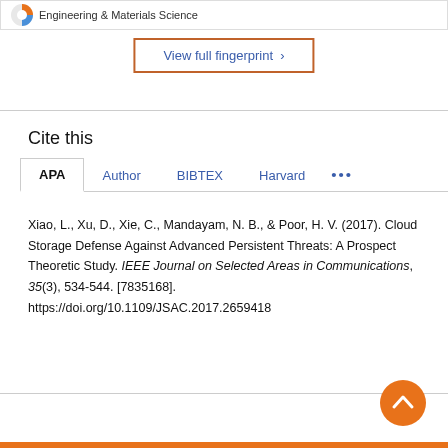[Figure (other): Partial view of a fingerprint donut chart with label 'Engineering & Materials Science']
View full fingerprint ›
Cite this
APA  Author  BIBTEX  Harvard  ...
Xiao, L., Xu, D., Xie, C., Mandayam, N. B., & Poor, H. V. (2017). Cloud Storage Defense Against Advanced Persistent Threats: A Prospect Theoretic Study. IEEE Journal on Selected Areas in Communications, 35(3), 534-544. [7835168]. https://doi.org/10.1109/JSAC.2017.2659418